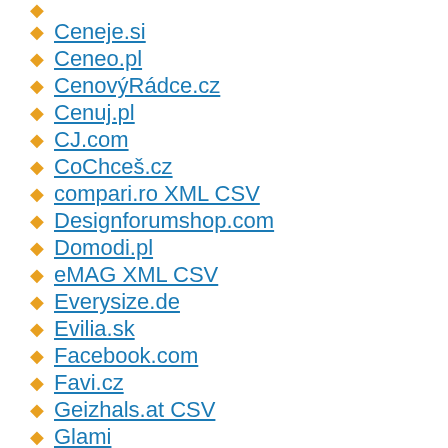Ceneje.si
Ceneo.pl
CenovýRádce.cz
Cenuj.pl
CJ.com
CoChceš.cz
compari.ro XML CSV
Designforumshop.com
Domodi.pl
eMAG XML CSV
Everysize.de
Evilia.sk
Facebook.com
Favi.cz
Geizhals.at CSV
Glami
glami.de (domodi)
Glami.eco
Google Ads DSA